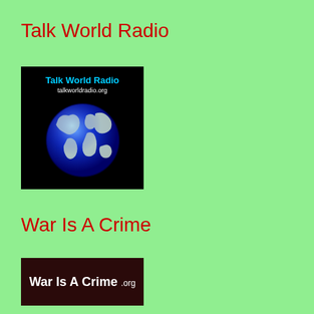Talk World Radio
[Figure (logo): Talk World Radio logo: black background with 'Talk World Radio' in blue bold text, 'talkworldradio.org' in white text, and a blue globe illustration below]
War Is A Crime
[Figure (logo): War Is A Crime .org logo: dark maroon/brown background with 'War Is A Crime .org' in white bold text]